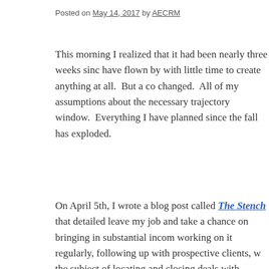Posted on May 14, 2017 by AECRM
This morning I realized that it had been nearly three weeks since have flown by with little time to create anything at all.  But a co changed.  All of my assumptions about the necessary trajectory window.  Everything I have planned since the fall has exploded.
On April 5th, I wrote a blog post called The Stench that detailed leave my job and take a chance on bringing in substantial incom working on it regularly, following up with prospective clients, w the subject of locating and closing deals with businesses able to were these pursuits not providing income, but they were also no Mama Ain't Happy, Ain't Nobody Happy.
But then, quite out of the blue, I took another kind of class.  Not about securing funding for a game-changing project.
This is the kind of thing that makes: